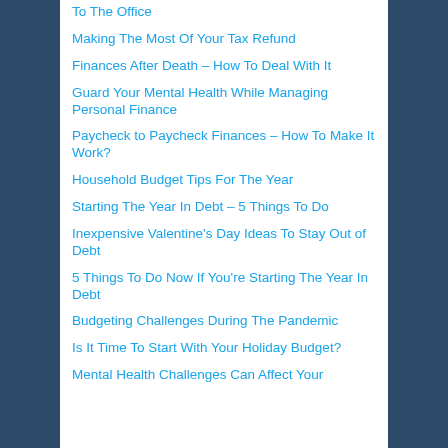To The Office
Making The Most Of Your Tax Refund
Finances After Death – How To Deal With It
Guard Your Mental Health While Managing Personal Finance
Paycheck to Paycheck Finances – How To Make It Work?
Household Budget Tips For The Year
Starting The Year In Debt – 5 Things To Do
Inexpensive Valentine's Day Ideas To Stay Out of Debt
5 Things To Do Now If You're Starting The Year In Debt
Budgeting Challenges During The Pandemic
Is It Time To Start With Your Holiday Budget?
Mental Health Challenges Can Affect Your